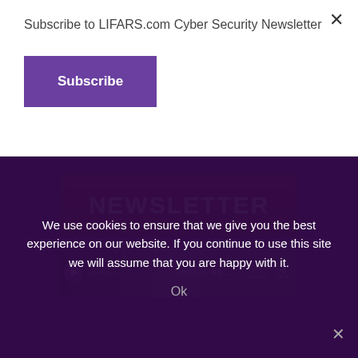Subscribe to LIFARS.com Cyber Security Newsletter
Subscribe
[Figure (screenshot): Red gradient banner with white bold text reading NEWSLETTER]
[Figure (screenshot): Video thumbnail for LIFARS Penetration Testing Solution with text DIGITAL FO... and Watch later / Share controls]
We use cookies to ensure that we give you the best experience on our website. If you continue to use this site we will assume that you are happy with it.
Ok